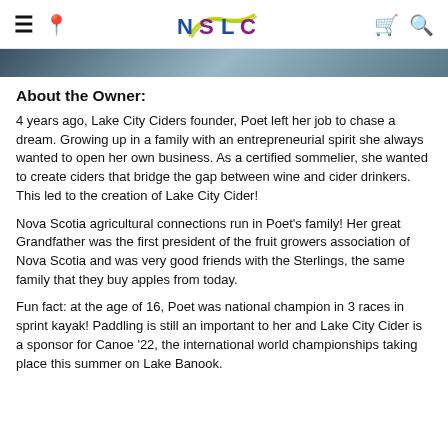NSLC
[Figure (photo): Partial photo strip showing people outdoors, cropped at top of page]
About the Owner:
4 years ago, Lake City Ciders founder, Poet left her job to chase a dream. Growing up in a family with an entrepreneurial spirit she always wanted to open her own business. As a certified sommelier, she wanted to create ciders that bridge the gap between wine and cider drinkers. This led to the creation of Lake City Cider!
Nova Scotia agricultural connections run in Poet's family! Her great Grandfather was the first president of the fruit growers association of Nova Scotia and was very good friends with the Sterlings, the same family that they buy apples from today.
Fun fact: at the age of 16, Poet was national champion in 3 races in sprint kayak! Paddling is still an important to her and Lake City Cider is a sponsor for Canoe '22, the international world championships taking place this summer on Lake Banook.